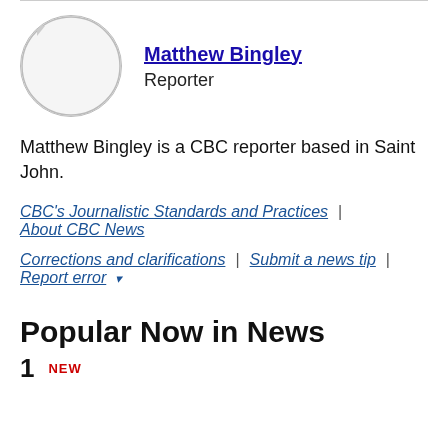[Figure (illustration): Circular avatar placeholder for Matthew Bingley with a light gray background and border]
Matthew Bingley
Reporter
Matthew Bingley is a CBC reporter based in Saint John.
CBC's Journalistic Standards and Practices | About CBC News
Corrections and clarifications | Submit a news tip | Report error ▾
Popular Now in News
1 NEW